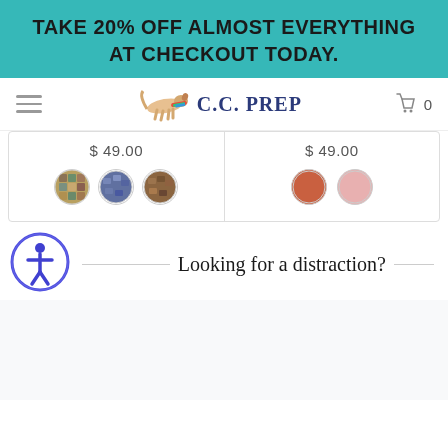TAKE 20% OFF ALMOST EVERYTHING AT CHECKOUT TODAY.
[Figure (logo): C.C. PREP brand logo with running dog/fox mascot and colorful scarf]
$ 49.00
$ 49.00
[Figure (other): Three circular color swatches: multicolor mosaic, blue/grey, brown]
[Figure (other): Two circular color swatches: terracotta/orange, light pink]
[Figure (other): Accessibility icon - blue circle with person symbol]
Looking for a distraction?